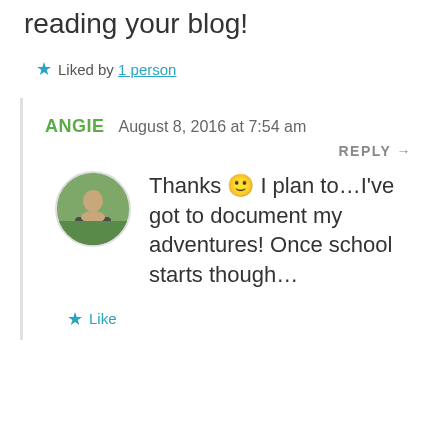reading your blog!
★ Liked by 1 person
ANGIE  August 8, 2016 at 7:54 am
REPLY →
[Figure (photo): Circular avatar photo of a person standing outdoors]
Thanks 🙂 I plan to…I've got to document my adventures! Once school starts though…
★ Like